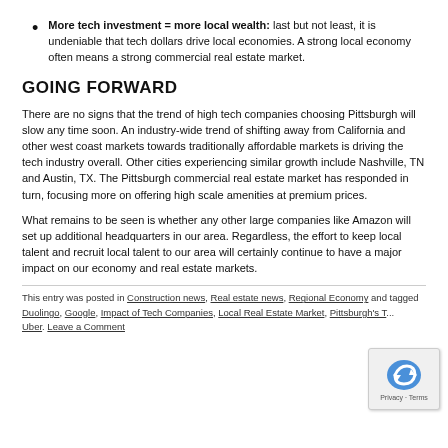More tech investment = more local wealth: last but not least, it is undeniable that tech dollars drive local economies. A strong local economy often means a strong commercial real estate market.
GOING FORWARD
There are no signs that the trend of high tech companies choosing Pittsburgh will slow any time soon. An industry-wide trend of shifting away from California and other west coast markets towards traditionally affordable markets is driving the tech industry overall. Other cities experiencing similar growth include Nashville, TN and Austin, TX. The Pittsburgh commercial real estate market has responded in turn, focusing more on offering high scale amenities at premium prices.
What remains to be seen is whether any other large companies like Amazon will set up additional headquarters in our area. Regardless, the effort to keep local talent and recruit local talent to our area will certainly continue to have a major impact on our economy and real estate markets.
This entry was posted in Construction news, Real estate news, Regional Economy and tagged Duolingo, Google, Impact of Tech Companies, Local Real Estate Market, Pittsburgh's T... Uber. Leave a Comment